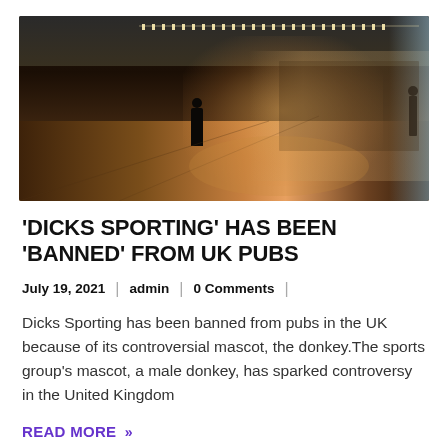[Figure (photo): Indoor sports hall or venue with a polished wooden floor, a silhouette of a person standing in the middle, rows of chairs along the right side, overhead strip lighting, and a window on the far right letting in natural light.]
'DICKS SPORTING' HAS BEEN 'BANNED' FROM UK PUBS
July 19, 2021 | admin | 0 Comments |
Dicks Sporting has been banned from pubs in the UK because of its controversial mascot, the donkey.The sports group's mascot, a male donkey, has sparked controversy in the United Kingdom
READ MORE »